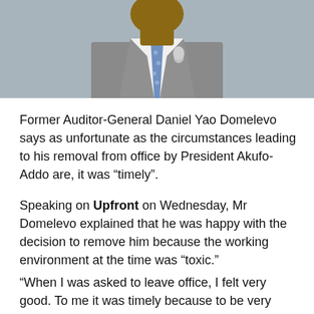[Figure (photo): Partial photo of a man in a grey suit and blue patterned tie, cropped to show neck/chest area with a microphone visible]
Former Auditor-General Daniel Yao Domelevo says as unfortunate as the circumstances leading to his removal from office by President Akufo-Addo are, it was “timely”.
Speaking on Upfront on Wednesday, Mr Domelevo explained that he was happy with the decision to remove him because the working environment at the time was “toxic.”
“When I was asked to leave office, I felt very good. To me it was timely because to be very honest, I found the environment to be so toxic that it was not worth working in such an environment. So when they said leave, I was just thankful to God and I left,” he said in the interview with